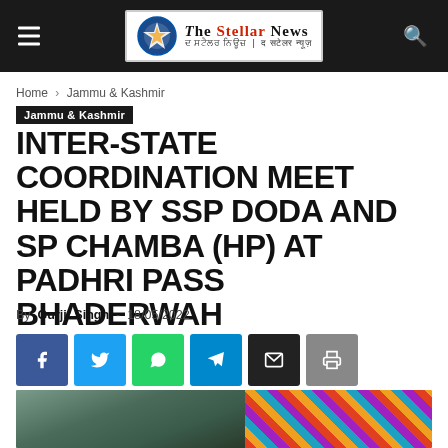The Stellar News
Home › Jammu & Kashmir
Jammu & Kashmir
INTER-STATE COORDINATION MEET HELD BY SSP DODA AND SP CHAMBA (HP) AT PADHRI PASS BHADERWAH
By Gurjit Singh - 18/05/2022
[Figure (other): Social sharing buttons: Facebook, Twitter, WhatsApp, Telegram, Email, Print]
[Figure (photo): Outdoor scene with trees and colorful decorations/fabric on right side]